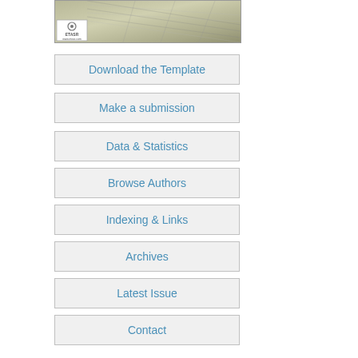[Figure (illustration): Journal cover image showing architectural/engineering perspective drawing with ETASR logo and www.etasr.com watermark]
Download the Template
Make a submission
Data & Statistics
Browse Authors
Indexing & Links
Archives
Latest Issue
Contact
Journal Issues
Vol. 12 (2022)    Vol. 6 (2016)